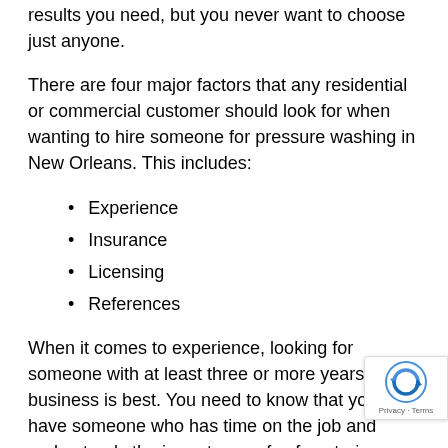results you need, but you never want to choose just anyone.
There are four major factors that any residential or commercial customer should look for when wanting to hire someone for pressure washing in New Orleans. This includes:
Experience
Insurance
Licensing
References
When it comes to experience, looking for someone with at least three or more years in the business is best. You need to know that you have someone who has time on the job and understands the importance of safe exterior washing in Louisiana so that no damage occurs.
For insurance coverage, a company that offers pressure